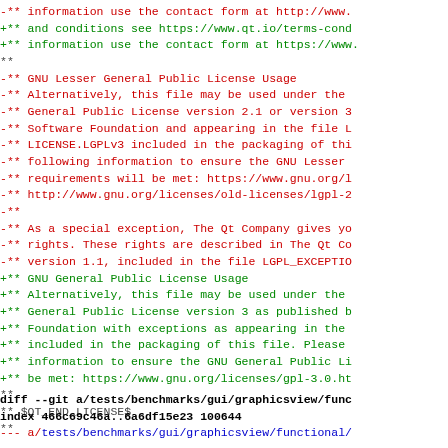-** information use the contact form at http://www.
+** and conditions see https://www.qt.io/terms-cond
+** information use the contact form at https://www.
 **
-** GNU Lesser General Public License Usage
-** Alternatively, this file may be used under the
-** General Public License version 2.1 or version 3
-** Software Foundation and appearing in the file L
-** LICENSE.LGPLv3 included in the packaging of thi
-** following information to ensure the GNU Lesser
-** requirements will be met: https://www.gnu.org/l
-** http://www.gnu.org/licenses/old-licenses/lgpl-2
-**
-** As a special exception, The Qt Company gives yo
-** rights. These rights are described in The Qt Co
-** version 1.1, included in the file LGPL_EXCEPTIO
+** GNU General Public License Usage
+** Alternatively, this file may be used under the
+** General Public License version 3 as published b
+** Foundation with exceptions as appearing in the
+** included in the packaging of this file. Please
+** information to ensure the GNU General Public Li
+** be met: https://www.gnu.org/licenses/gpl-3.0.ht
 **
 ** $QT_END_LICENSE$
 **
diff --git a/tests/benchmarks/gui/graphicsview/func
index 466c69c46a..6a6df15e23 100644
--- a/tests/benchmarks/gui/graphicsview/functional/